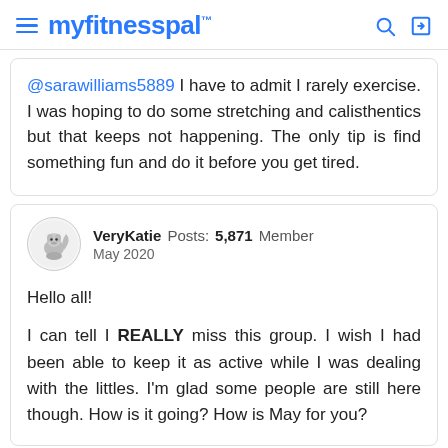myfitnesspal
@sarawilliams5889 I have to admit I rarely exercise. I was hoping to do some stretching and calisthentics but that keeps not happening. The only tip is find something fun and do it before you get tired.
VeryKatie  Posts: 5,871  Member
May 2020
Hello all!

I can tell I REALLY miss this group. I wish I had been able to keep it as active while I was dealing with the littles. I'm glad some people are still here though. How is it going? How is May for you?